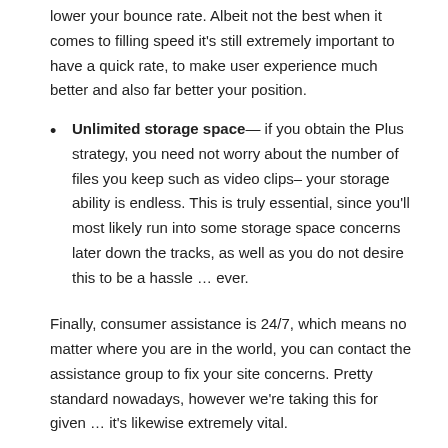lower your bounce rate. Albeit not the best when it comes to filling speed it's still extremely important to have a quick rate, to make user experience much better and also far better your position.
Unlimited storage space— if you obtain the Plus strategy, you need not worry about the number of files you keep such as video clips– your storage ability is endless. This is truly essential, since you'll most likely run into some storage space concerns later down the tracks, as well as you do not desire this to be a hassle … ever.
Finally, consumer assistance is 24/7, which means no matter where you are in the world, you can contact the assistance group to fix your site concerns. Pretty standard nowadays, however we're taking this for given … it's likewise extremely vital.
Additionally, if you have actually obtained a totally free domain